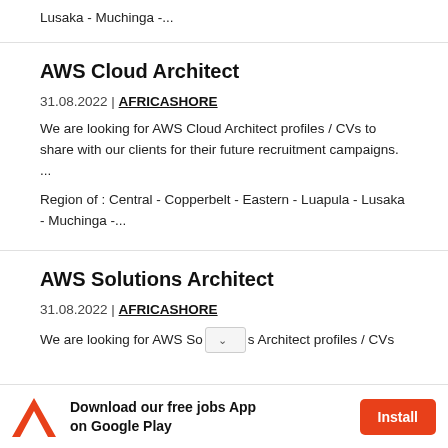Lusaka - Muchinga -...
AWS Cloud Architect
31.08.2022 | AFRICASHORE
We are looking for AWS Cloud Architect profiles / CVs to share with our clients for their future recruitment campaigns. ...
Region of : Central - Copperbelt - Eastern - Luapula - Lusaka - Muchinga -...
AWS Solutions Architect
31.08.2022 | AFRICASHORE
We are looking for AWS Solutions Architect profiles / CVs
Download our free jobs App on Google Play